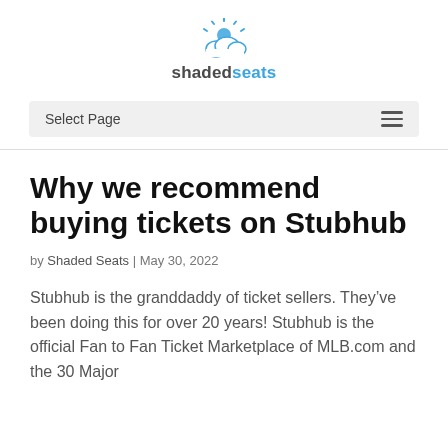[Figure (logo): Shaded Seats logo: a cloud with sun rays above the text 'shadedseats' in bold, with 'shaded' in dark gray and 'seats' in blue]
Select Page
Why we recommend buying tickets on Stubhub
by Shaded Seats | May 30, 2022
Stubhub is the granddaddy of ticket sellers. They've been doing this for over 20 years! Stubhub is the official Fan to Fan Ticket Marketplace of MLB.com and the 30 Major